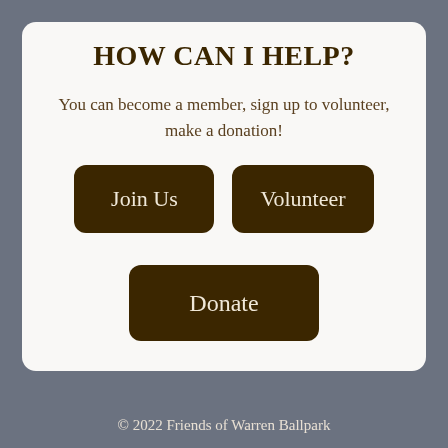HOW CAN I HELP?
You can become a member, sign up to volunteer, make a donation!
[Figure (infographic): Three call-to-action buttons: 'Join Us', 'Volunteer', and 'Donate', displayed in dark brown rounded rectangles on a white card background.]
© 2022 Friends of Warren Ballpark